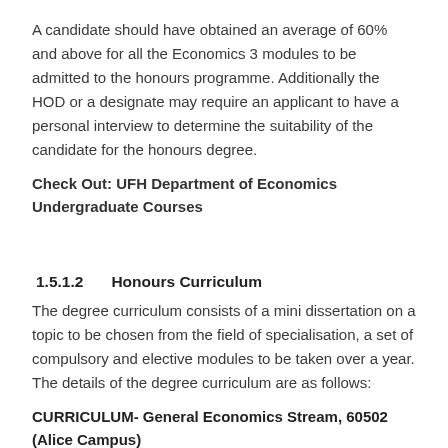A candidate should have obtained an average of 60% and above for all the Economics 3 modules to be admitted to the honours programme. Additionally the HOD or a designate may require an applicant to have a personal interview to determine the suitability of the candidate for the honours degree.
Check Out: UFH Department of Economics Undergraduate Courses
1.5.1.2   Honours Curriculum
The degree curriculum consists of a mini dissertation on a topic to be chosen from the field of specialisation, a set of compulsory and elective modules to be taken over a year. The details of the degree curriculum are as follows:
CURRICULUM- General Economics Stream, 60502 (Alice Campus)